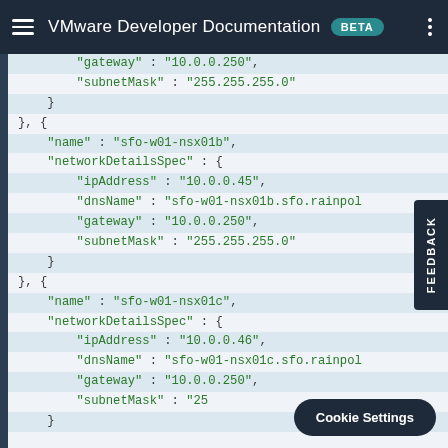VMware Developer Documentation BETA
JSON code block showing network configuration for sfo-w01-nsx01b and sfo-w01-nsx01c with ipAddress, dnsName, gateway, and subnetMask fields